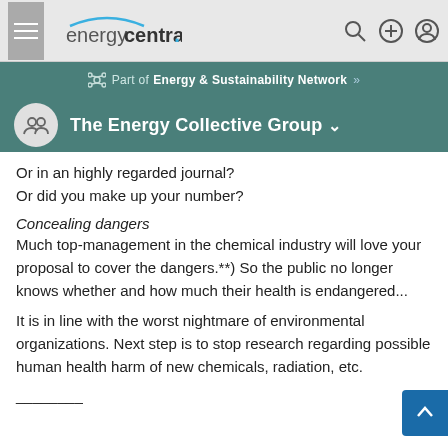energycentral. [navigation bar with search, add, and account icons]
Part of Energy & Sustainability Network »
The Energy Collective Group
Or in an highly regarded journal?
Or did you make up your number?
Concealing dangers
Much top-management in the chemical industry will love your proposal to cover the dangers.**) So the public no longer knows whether and how much their health is endangered...
It is in line with the worst nightmare of environmental organizations. Next step is to stop research regarding possible human health harm of new chemicals, radiation, etc.
________